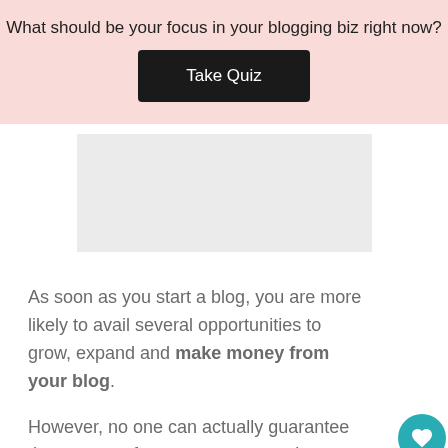What should be your focus in your blogging biz right now?
[Figure (other): Black button with white text reading 'Take Quiz']
[Figure (other): Advertisement placeholder gray rectangle]
As soon as you start a blog, you are more likely to avail several opportunities to grow, expand and make money from your blog.
However, no one can actually guarantee the amount of money you can make out of your blog.